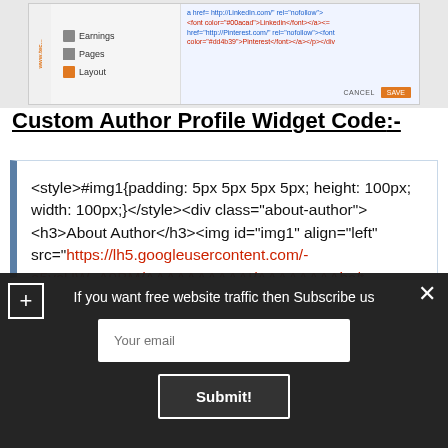[Figure (screenshot): Screenshot of a web interface showing a sidebar with items 'Earnings', 'Pages', 'Layout' and a right panel with HTML code including a LinkedIn and Pinterest link, with CANCEL and SAVE buttons. The www.tec... watermark is visible.]
Custom Author Profile Widget Code:-
<style>#img1{padding: 5px 5px 5px 5px; height: 100px; width: 100px;}</style><div class="about-author"><h3>About Author</h3><img id="img1" align="left" src="https://lh5.googleusercontent.com/-a5vcUW_A9BM/AAAAAAAAAAI/AAAAAAAAhc/t-ubxyVOWEs/s80-c/photo.jpg"/><p> Hi, I have written and developed this site so that students may learn computer science related technologies easily. I'm committed to provide easy and in-depth tutorials on various technologies. No one is perfect in this world and nothing is eternally best. But we can try to be better. I hope it will help you a lot </p>
If you want free website traffic then Subscribe us
Your email
Submit!